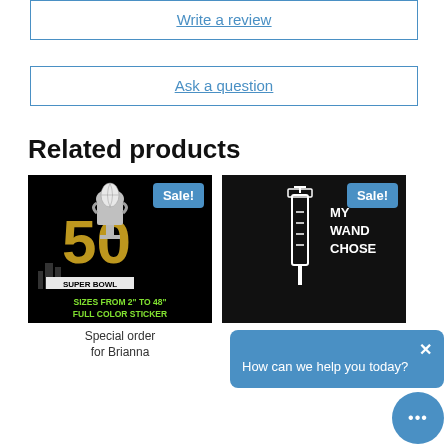Write a review
Ask a question
Related products
[Figure (photo): Super Bowl 50 sticker product image on black background with gold '50' and trophy graphic, green text 'SIZES FROM 2" TO 48" FULL COLOR STICKER', with 'Sale!' badge]
[Figure (photo): My Wand Chose Me product image on black background with white syringe illustration and text 'MY WAND CHOSE', with 'Sale!' badge]
Special order for Brianna
My Wand Chose Mo
How can we help you today?